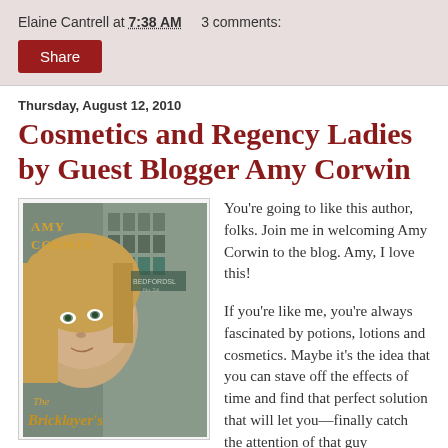Elaine Cantrell at 7:38 AM   3 comments:
Share
Thursday, August 12, 2010
Cosmetics and Regency Ladies by Guest Blogger Amy Corwin
[Figure (illustration): Book cover for 'The Bricklayer's' by Amy Corwin, showing a young woman with blonde hair against a building backdrop with gold text.]
You're going to like this author, folks. Join me in welcoming Amy Corwin to the blog. Amy, I love this!
If you're like me, you're always fascinated by potions, lotions and cosmetics. Maybe it's the idea that you can stave off the effects of time and find that perfect solution that will let you—finally catch the attention of that guy